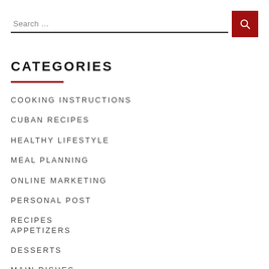Search …
CATEGORIES
COOKING INSTRUCTIONS
CUBAN RECIPES
HEALTHY LIFESTYLE
MEAL PLANNING
ONLINE MARKETING
PERSONAL POST
RECIPES
APPETIZERS
DESSERTS
MAIN DISHES